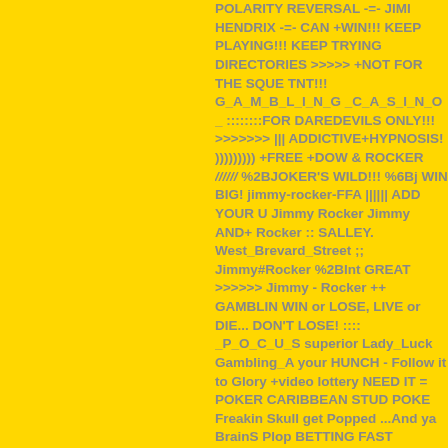POLARITY REVERSAL -=- JIMI HENDRIX -=- CAN +WIN!!! KEEP PLAYING!!! KEEP TRYING DIRECTORIES >>>>> +NOT FOR THE SQUEMISH TNT!!! G_A_M_B_L_I_N_G _C_A_S_I_N_O _ ::::::::FOR DAREDEVILS ONLY!!! >>>>>>> ||| ADDICTIVE+HYPNOSIS! )))))))))  +FREE +DOW & ROCKER ////// %2BJOKER'S WILD!!! %6Bj WIN BIG! jimmy-rocker-FFA |||||| ADD YOUR U Jimmy Rocker Jimmy AND+ Rocker :: SALLEY. West_Brevard_Street ;; Jimmy#Rocker %2BInt GREAT >>>>>> Jimmy - Rocker ++ GAMBLIN WIN or LOSE, LIVE or DIE... DON'T LOSE! :::: _P_O_C_U_S superior Lady_Luck Gambling_A your HUNCH - Follow it to Glory +video lottery NEED IT = POKER CARIBBEAN STUD POKE Freakin Skull get Popped ...And ya BrainS Plop BETTING FAST PAYOUT Quake ((UPTIGHT!)) == Jimmy Rocker CASINO FFA !!! CHESS SO +PICK EM POKER )))VORTEX!(((  Vibro-Rhythi ...LOOKOUT WEEKEND -=- Debbie Deb <JIM -=- SYLVIA and MICKEY http://www.google.cor PLANETARY ECOSYSTEM -=- SYSTEM OF H SCI-FI HORROR +casinogambling ::::: SET AD -=- JUST GOT LUCKY ::::: ELTON JOHN and B Stop 'Til You Get Enough CLAWS AND FANGS +game -=- DEFEND AMERICA -=- ( ( ( SAMU <LAYERING> BILLY SQUIRE -=- IN THE DARY +ROULETTE +JoKER+SloTS <CONCEPTUAL Ohio Players - I Want To Be Free &+xargs=0+p BRAND start=1+dups=1 PHANTOM SPECTER +xargs Goo Slein language=::::::: http:::..